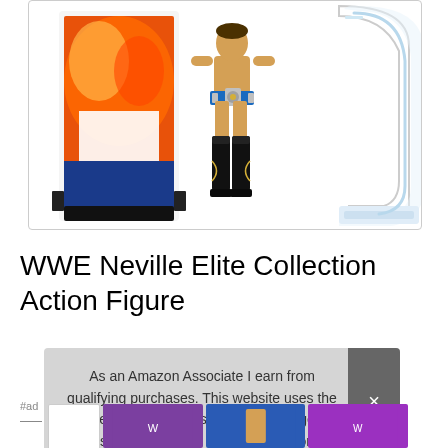[Figure (photo): Product image showing WWE Neville Elite Collection Action Figure: colorful character packaging on the left, a wrestling action figure in the middle wearing a blue championship belt and black boots, and a clear plastic figure stand on the right.]
WWE Neville Elite Collection Action Figure
#ad
As an Amazon Associate I earn from qualifying purchases. This website uses the only necessary cookies to ensure you get the best experience on our website. More information
[Figure (photo): Bottom strip of small product thumbnail images]